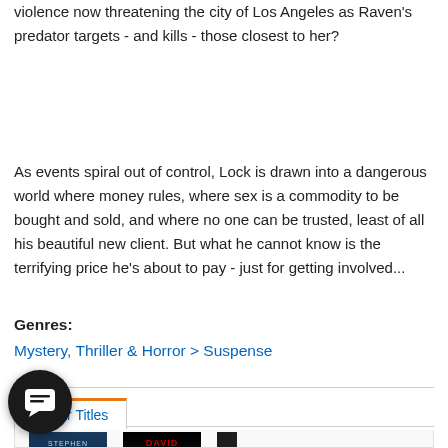violence now threatening the city of Los Angeles as Raven's predator targets - and kills - those closest to her?
As events spiral out of control, Lock is drawn into a dangerous world where money rules, where sex is a commodity to be bought and sold, and where no one can be trusted, least of all his beautiful new client. But what he cannot know is the terrifying price he's about to pay - just for getting involved...
Genres:
Mystery, Thriller & Horror > Suspense
Similar Titles
[Figure (photo): Book cover for a Stephen King novel with dark blue background showing author name STEPHEN KING in large letters]
[Figure (photo): Book cover for a David Baldacci novel with black background and red author name DAVID BALDACCI]
[Figure (photo): Partial view of a third book cover on the right edge]